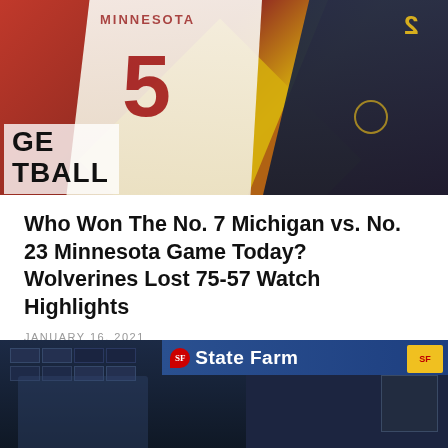[Figure (photo): Basketball game photo showing Minnesota player #5 in white jersey and Michigan player in dark navy jersey, with college basketball overlay text 'GE TBALL' in bottom left corner]
Who Won The No. 7 Michigan vs. No. 23 Minnesota Game Today? Wolverines Lost 75-57 Watch Highlights
JANUARY 16, 2021
[Figure (photo): Basketball arena photo showing State Farm branded scoreboard/signage with players on the court]